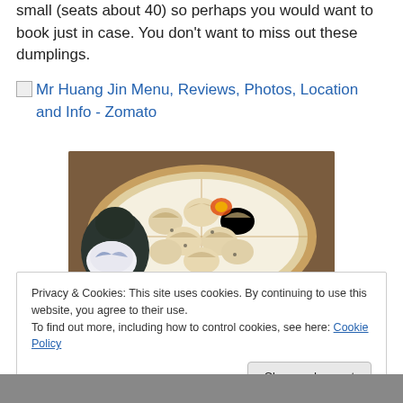small (seats about 40) so perhaps you would want to book just in case. You don't want to miss out these dumplings.
[Figure (screenshot): A linked image placeholder for Mr Huang Jin Menu, Reviews, Photos, Location and Info - Zomato]
[Figure (photo): Overhead photo of dumplings (xiao long bao) in a bamboo steamer with a teapot on the side]
Privacy & Cookies: This site uses cookies. By continuing to use this website, you agree to their use.
To find out more, including how to control cookies, see here: Cookie Policy
Close and accept